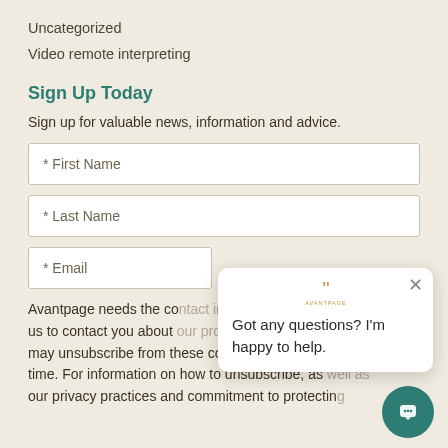Uncategorized
Video remote interpreting
Sign Up Today
Sign up for valuable news, information and advice.
* First Name
* Last Name
* Email
Avantpage needs the co... us to contact you about ... products and services. You may unsubscribe from these communications at any time. For information on how to unsubscribe, as ... our privacy practices and commitment to protecting